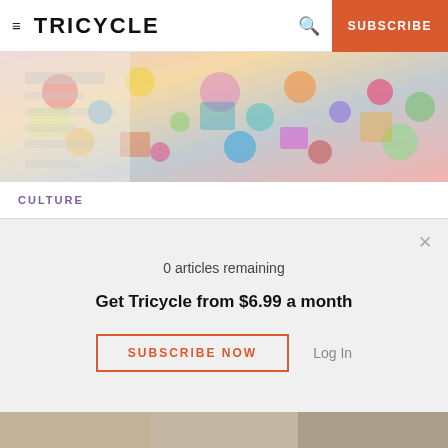TRICYCLE  |  SUBSCRIBE
[Figure (photo): Colorful, densely patterned artwork featuring abstract and pop-culture imagery with bright colors]
CULTURE
'Beats and Buddhas': A New Exhibit Features Art from Allen Ginsberg and Gonkar Gyatso
By Alison Spiegel
0 articles remaining
Get Tricycle from $6.99 a month
SUBSCRIBE NOW  Log In
[Figure (photo): Partial view of artwork at bottom of page]